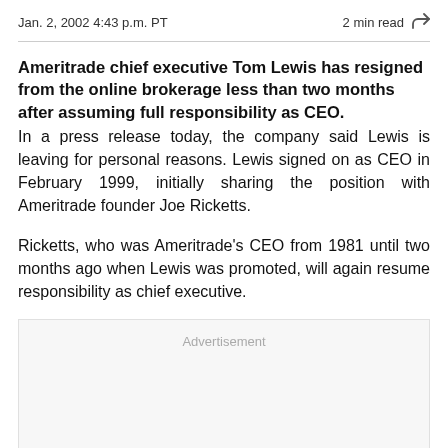Jan. 2, 2002 4:43 p.m. PT    2 min read
Ameritrade chief executive Tom Lewis has resigned from the online brokerage less than two months after assuming full responsibility as CEO. In a press release today, the company said Lewis is leaving for personal reasons. Lewis signed on as CEO in February 1999, initially sharing the position with Ameritrade founder Joe Ricketts.
Ricketts, who was Ameritrade's CEO from 1981 until two months ago when Lewis was promoted, will again resume responsibility as chief executive.
Advertisement